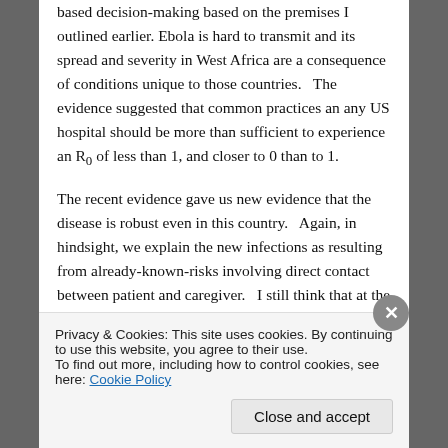based decision-making based on the premises I outlined earlier. Ebola is hard to transmit and its spread and severity in West Africa are a consequence of conditions unique to those countries.   The evidence suggested that common practices an any US hospital should be more than sufficient to experience an R₀ of less than 1, and closer to 0 than to 1.

The recent evidence gave us new evidence that the disease is robust even in this country.   Again, in hindsight, we explain the new infections as resulting from already-known-risks involving direct contact between patient and caregiver.   I still think that at the time, there was confidence that even our routine contagious disease treatment practices were…
Privacy & Cookies: This site uses cookies. By continuing to use this website, you agree to their use.
To find out more, including how to control cookies, see here: Cookie Policy
Close and accept